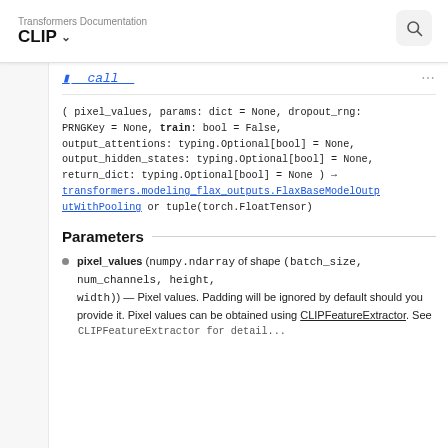Transformers Documentation
CLIP ∨
( pixel_values, params: dict = None, dropout_rng: PRNGKey = None, train: bool = False, output_attentions: typing.Optional[bool] = None, output_hidden_states: typing.Optional[bool] = None, return_dict: typing.Optional[bool] = None ) → transformers.modeling_flax_outputs.FlaxBaseModelOutputWithPooling or tuple(torch.FloatTensor)
Parameters
pixel_values (numpy.ndarray of shape (batch_size, num_channels, height, width)) — Pixel values. Padding will be ignored by default should you provide it. Pixel values can be obtained using CLIPFeatureExtractor. See